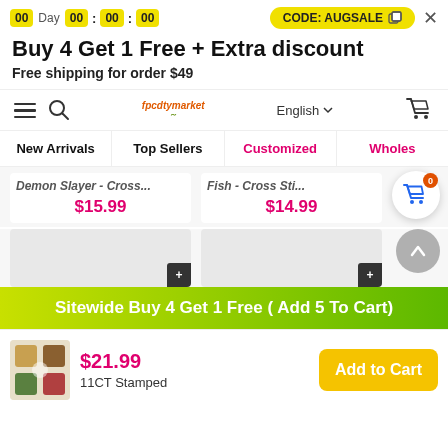00 Day 00 : 00 : 00   CODE: AUGSALE  X
Buy 4 Get 1 Free + Extra discount
Free shipping for order $49
[Figure (screenshot): Navigation bar with hamburger menu, search icon, logo, English language selector, and cart icon]
New Arrivals
Top Sellers
Customized
Wholes
Demon Slayer - Cross...   $15.99
Fish - Cross Sti...   $14.99
Sitewide Buy 4 Get 1 Free ( Add 5 To Cart)
$21.99
11CT Stamped
Add to Cart